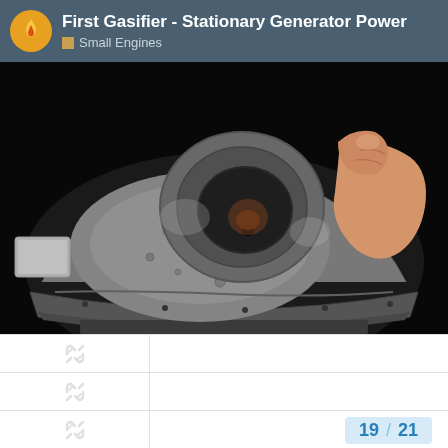First Gasifier - Stationary Generator Power | Small Engines
[Figure (photo): Close-up photograph of a metal gasifier component being held by a hand, showing a circular opening/nozzle with rough cast metal surface and flanged base]
[Figure (other): Thumbnail strip with three placeholder/broken-link icons and a page number badge showing 19/21]